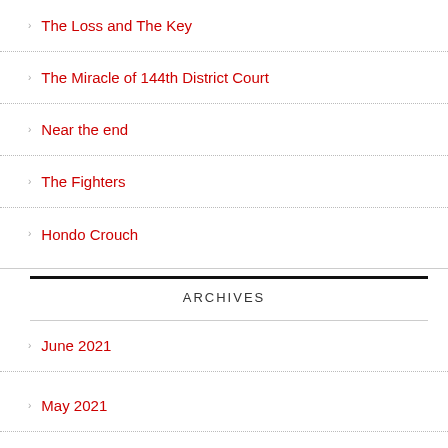The Loss and The Key
The Miracle of 144th District Court
Near the end
The Fighters
Hondo Crouch
ARCHIVES
June 2021
May 2021